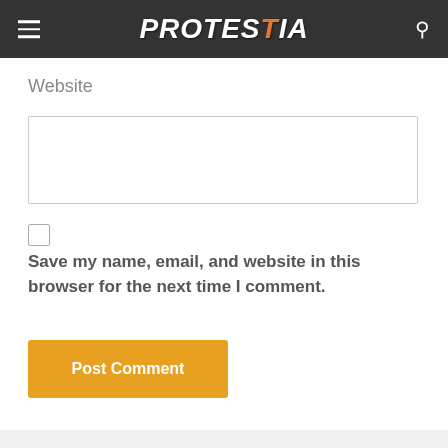PROTESTIA
Website
Save my name, email, and website in this browser for the next time I comment.
Post Comment